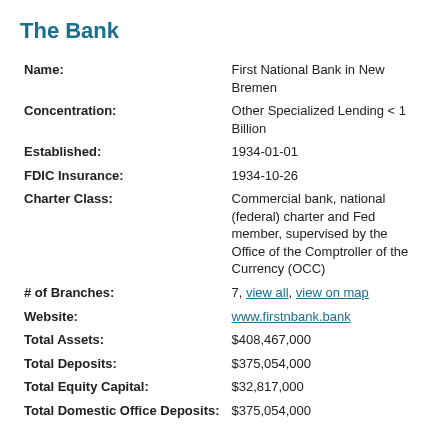The Bank
| Field | Value |
| --- | --- |
| Name: | First National Bank in New Bremen |
| Concentration: | Other Specialized Lending < 1 Billion |
| Established: | 1934-01-01 |
| FDIC Insurance: | 1934-10-26 |
| Charter Class: | Commercial bank, national (federal) charter and Fed member, supervised by the Office of the Comptroller of the Currency (OCC) |
| # of Branches: | 7, view all, view on map |
| Website: | www.firstnbank.bank |
| Total Assets: | $408,467,000 |
| Total Deposits: | $375,054,000 |
| Total Equity Capital: | $32,817,000 |
| Total Domestic Office Deposits: | $375,054,000 |